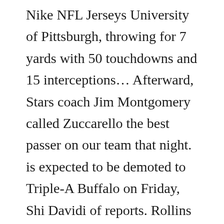Nike NFL Jerseys University of Pittsburgh, throwing for 7 yards with 50 touchdowns and 15 interceptions… Afterward, Stars coach Jim Montgomery called Zuccarello the best passer on our team that night. is expected to be demoted to Triple-A Buffalo on Friday, Shi Davidi of reports. Rollins ran out to tell him that no one in WWE — from the fans to the locker room – wants him here.
https://secom.ir/?p=3221
https://eisstock-gaudi-